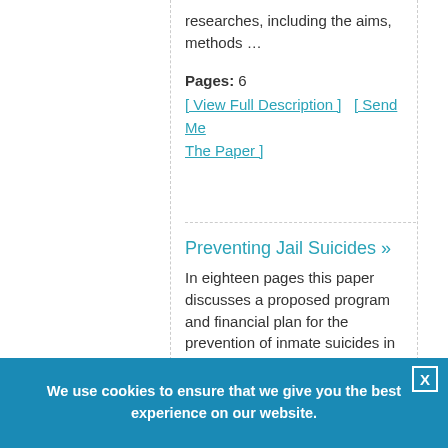researches, including the aims, methods …
Pages: 6
[ View Full Description ]    [ Send Me The Paper ]
Preventing Jail Suicides »
In eighteen pages this paper discusses a proposed program and financial plan for the prevention of inmate suicides in prison. Eight sources are cited in the bibliography.
Pages: 18
We use cookies to ensure that we give you the best experience on our website.